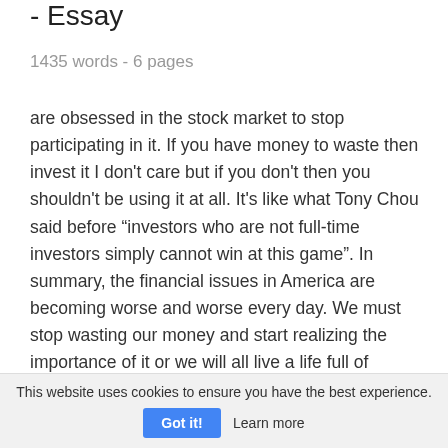- Essay
1435 words - 6 pages
are obsessed in the stock market to stop participating in it. If you have money to waste then invest it I don't care but if you don't then you shouldn't be using it at all. It's like what Tony Chou said before “investors who are not full-time investors simply cannot win at this game”. In summary, the financial issues in America are becoming worse and worse every day. We must stop wasting our money and start realizing the importance of it or we will all live a life full of anxiety,
This website uses cookies to ensure you have the best experience. Got it! Learn more